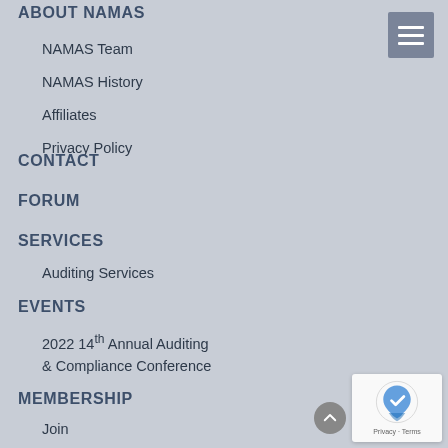ABOUT NAMAS
NAMAS Team
NAMAS History
Affiliates
Privacy Policy
CONTACT
FORUM
SERVICES
Auditing Services
EVENTS
2022 14th Annual Auditing & Compliance Conference
MEMBERSHIP
Join
Membership Benefits